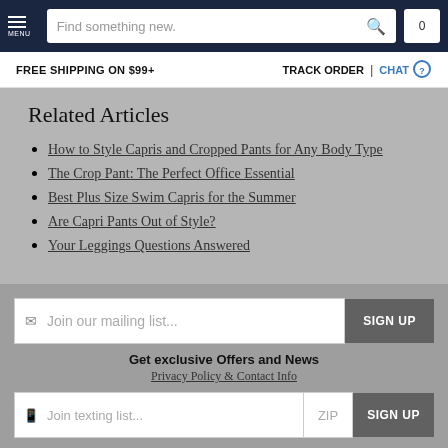MENU | Find something new. | 0
FREE SHIPPING ON $99+   TRACK ORDER | CHAT
Related Articles
How to Style Capris and Cropped Pants for Any Body Type
The Crop Pant: The Perfect Office Essential
Best Plus Size Swim Capris for the Summer
Are Capri Pants Out of Style?
Your Leggings Questions Answered
Join our mailing list...  SIGN UP
Get exclusive Offers and News
Privacy Policy & Contact Info
Join texting list...  ZIP  SIGN UP